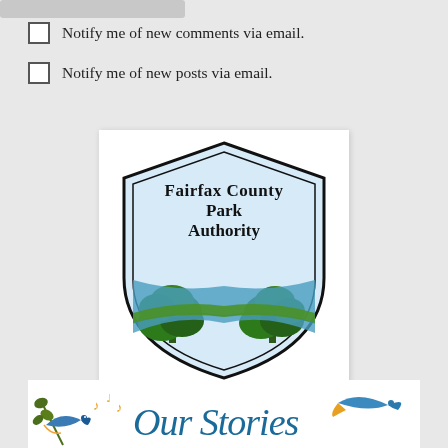Notify me of new comments via email.
Notify me of new posts via email.
[Figure (logo): Fairfax County Park Authority shield logo with trees and water]
[Figure (logo): Our Stories logo with bird and musical notes]